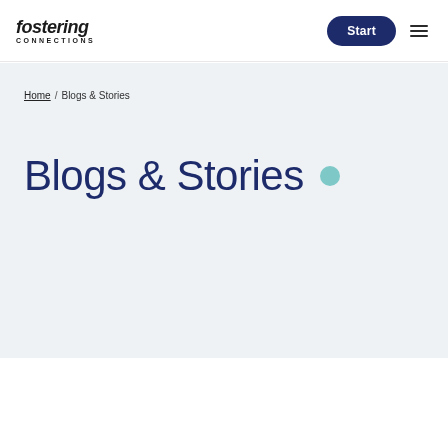fostering CONNECTIONS | Start | menu
Home / Blogs & Stories
Blogs & Stories